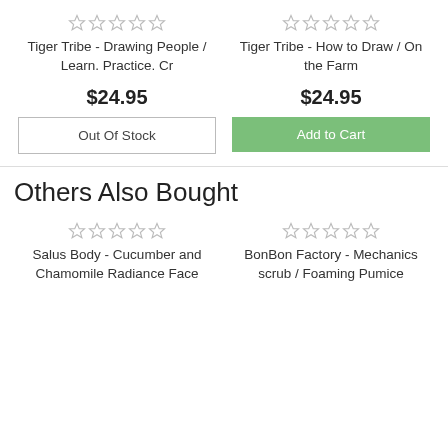Tiger Tribe - Drawing People / Learn. Practice. Cr
Tiger Tribe - How to Draw / On the Farm
$24.95
$24.95
Out Of Stock
Add to Cart
Others Also Bought
Salus Body - Cucumber and Chamomile Radiance Face
BonBon Factory - Mechanics scrub / Foaming Pumice